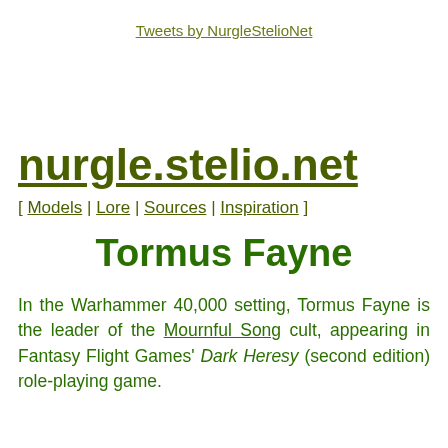Tweets by NurgleStelioNet
nurgle.stelio.net
[ Models | Lore | Sources | Inspiration ]
Tormus Fayne
In the Warhammer 40,000 setting, Tormus Fayne is the leader of the Mournful Song cult, appearing in Fantasy Flight Games' Dark Heresy (second edition) role-playing game.